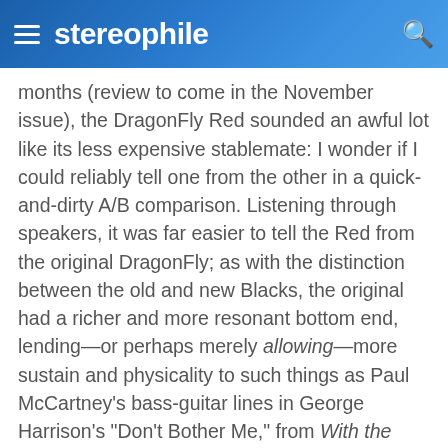stereophile
months (review to come in the November issue), the DragonFly Red sounded an awful lot like its less expensive stablemate: I wonder if I could reliably tell one from the other in a quick-and-dirty A/B comparison. Listening through speakers, it was far easier to tell the Red from the original DragonFly; as with the distinction between the old and new Blacks, the original had a richer and more resonant bottom end, lending—or perhaps merely allowing—more sustain and physicality to such things as Paul McCartney's bass-guitar lines in George Harrison's "Don't Bother Me," from With the Beatles (CD, Parlophone PM1206).
And here again was the sort of contrast described